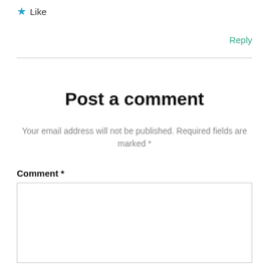★ Like
Reply
Post a comment
Your email address will not be published. Required fields are marked *
Comment *
[Figure (other): Empty comment text area input box]